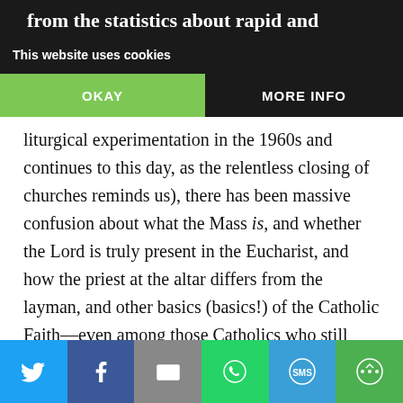from the statistics about rapid and devastating declines in Mass attendance throughout the Catholic
This website uses cookies
OKAY    MORE INFO
liturgical experimentation in the 1960s and continues to this day, as the relentless closing of churches reminds us), there has been massive confusion about what the Mass is, and whether the Lord is truly present in the Eucharist, and how the priest at the altar differs from the layman, and other basics (basics!) of the Catholic Faith—even among those Catholics who still attend Mass and who are polled with simple questions that a first communion candidate in the 1950s could have answered with ease. Above all, one dare not ask Catholics whether
[Figure (infographic): Social sharing bar with Twitter, Facebook, Email, WhatsApp, SMS, and More buttons]